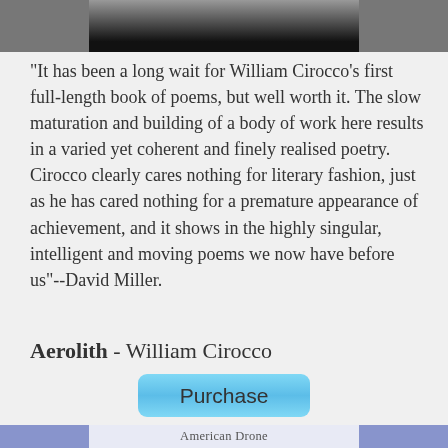[Figure (photo): Top portion of a book cover, dark image with gradient from gray to black]
"It has been a long wait for William Cirocco's first full-length book of poems, but well worth it. The slow maturation and building of a body of work here results in a varied yet coherent and finely realised poetry. Cirocco clearly cares nothing for literary fashion, just as he has cared nothing for a premature appearance of achievement, and it shows in the highly singular, intelligent and moving poems we now have before us"--David Miller.
Aerolith - William Cirocco
[Figure (other): Purchase button — rounded rectangle with light blue gradient background, text 'Purchase']
[Figure (photo): Bottom portion of a book cover showing 'American Drone' text with blue/white illustrated face artwork]